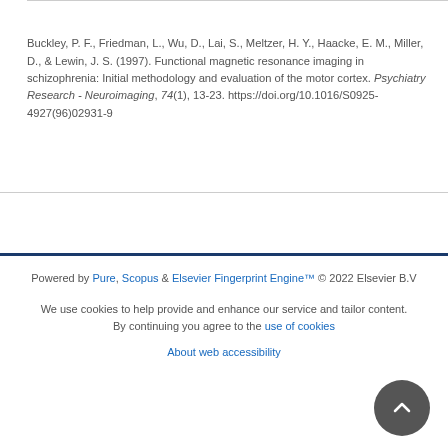Buckley, P. F., Friedman, L., Wu, D., Lai, S., Meltzer, H. Y., Haacke, E. M., Miller, D., & Lewin, J. S. (1997). Functional magnetic resonance imaging in schizophrenia: Initial methodology and evaluation of the motor cortex. Psychiatry Research - Neuroimaging, 74(1), 13-23. https://doi.org/10.1016/S0925-4927(96)02931-9
Powered by Pure, Scopus & Elsevier Fingerprint Engine™ © 2022 Elsevier B.V
We use cookies to help provide and enhance our service and tailor content. By continuing you agree to the use of cookies
About web accessibility